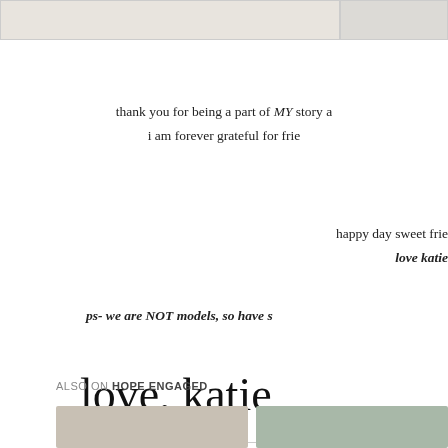[Figure (photo): Two partial photos cropped at top of page, left showing light-colored textured background, right showing similar texture]
thank you for being a part of MY story a
i am forever grateful for frie
happy day sweet frie
love katie
ps- we are NOT models, so have s
[Figure (illustration): Cursive handwritten signature reading 'love, katie']
ALSO ON HOPE ENGAGED
[Figure (photo): Two thumbnail photos at bottom of page]